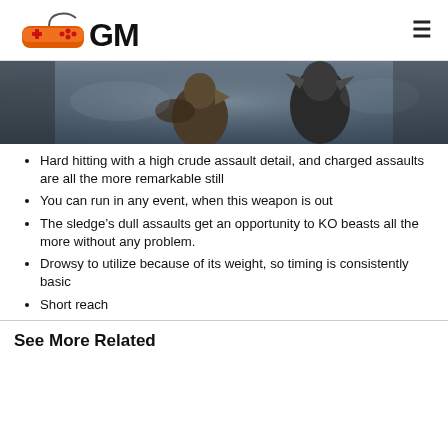GM (GamerMasters logo)
[Figure (photo): Screenshot from a game showing fantasy creature/monster characters in a dark, smoky environment.]
Hard hitting with a high crude assault detail, and charged assaults are all the more remarkable still
You can run in any event, when this weapon is out
The sledge’s dull assaults get an opportunity to KO beasts all the more without any problem.
Drowsy to utilize because of its weight, so timing is consistently basic
Short reach
See More Related